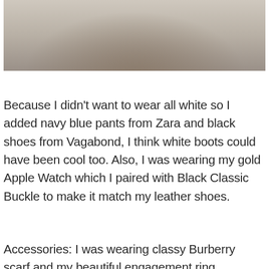[Figure (photo): Fashion photo of a person wearing a white puffer jacket, photographed outdoors with bokeh background]
Because I didn't want to wear all white so I added navy blue pants from Zara and black shoes from Vagabond, I think white boots could have been cool too. Also, I was wearing my gold Apple Watch which I paired with Black Classic Buckle to make it match my leather shoes.
Accessories: I was wearing classy Burberry scarf and my beautiful engagement ring. Additionally, our